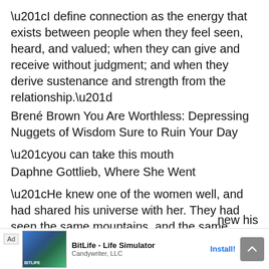“I define connection as the energy that exists between people when they feel seen, heard, and valued; when they can give and receive without judgment; and when they derive sustenance and strength from the relationship.”
Brené Brown You Are Worthless: Depressing Nuggets of Wisdom Sure to Ruin Your Day
“you can take this mouth
Daphne Gottlieb, Where She Went
“He knew one of the women well, and had shared his universe with her. They had seen the same mountains, and the same trees, although each of
new his
[Figure (screenshot): Mobile advertisement banner for BitLife - Life Simulator by Candywriter LLC with an Install button]